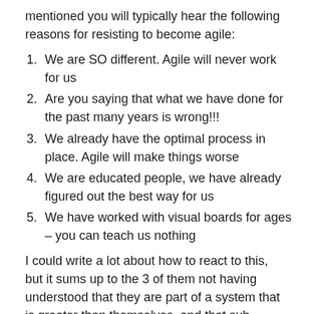mentioned you will typically hear the following reasons for resisting to become agile:
We are SO different. Agile will never work for us
Are you saying that what we have done for the past many years is wrong!!!
We already have the optimal process in place. Agile will make things worse
We are educated people, we have already figured out the best way for us
We have worked with visual boards for ages – you can teach us nothing
I could write a lot about how to react to this, but it sums up to the 3 of them not having understood that they are part of a system that is greater than themselves, and that sub-optimization is bad for productivity.